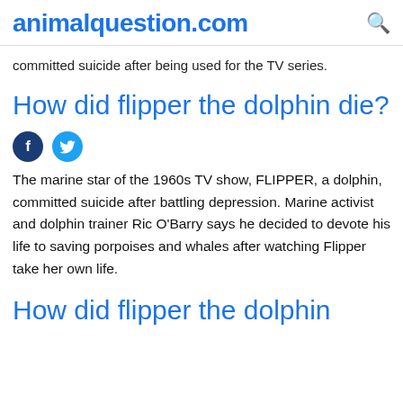animalquestion.com
committed suicide after being used for the TV series.
How did flipper the dolphin die?
The marine star of the 1960s TV show, FLIPPER, a dolphin, committed suicide after battling depression. Marine activist and dolphin trainer Ric O'Barry says he decided to devote his life to saving porpoises and whales after watching Flipper take her own life.
How did flipper the dolphin